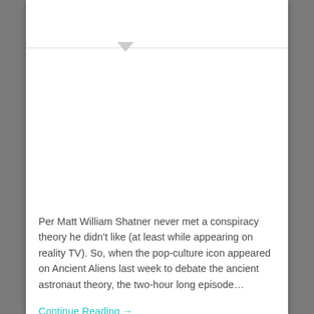Per Matt William Shatner never met a conspiracy theory he didn't like (at least while appearing on reality TV). So, when the pop-culture icon appeared on Ancient Aliens last week to debate the ancient astronaut theory, the two-hour long episode…
Continue Reading →